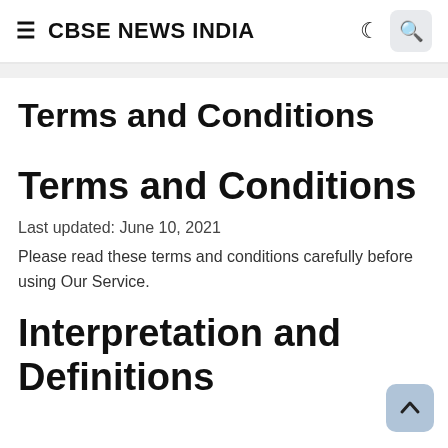CBSE NEWS INDIA
Terms and Conditions
Terms and Conditions
Last updated: June 10, 2021
Please read these terms and conditions carefully before using Our Service.
Interpretation and Definitions